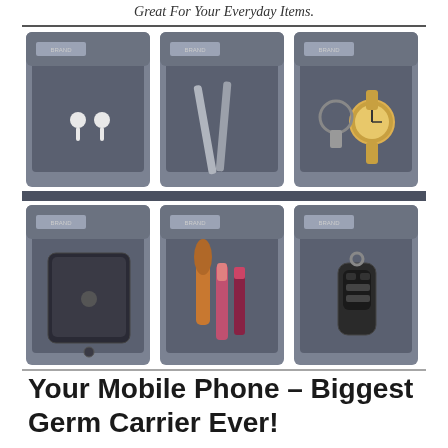Great For Your Everyday Items.
[Figure (photo): Six open UV sanitizer boxes displayed in a 2x3 grid, each containing different everyday items: AirPods, a hair clip/comb tool, jewelry and a watch, a smartphone, makeup brushes and lipstick, and a car key fob.]
Your Mobile Phone – Biggest Germ Carrier Ever!